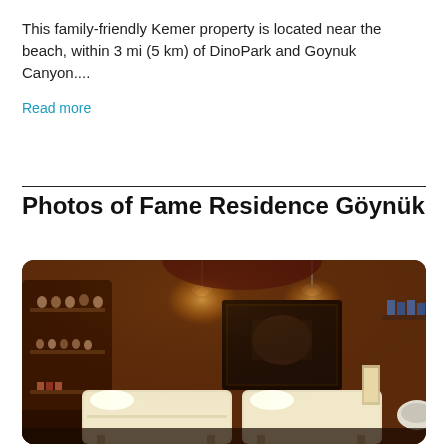This family-friendly Kemer property is located near the beach, within 3 mi (5 km) of DinoPark and Goynuk Canyon....
Read more
Photos of Fame Residence Göynük
[Figure (photo): Interior photo of a spa/massage room at Fame Residence Göynük. The room has warm amber/brown lighting with two massage tables covered in white linens, shelving with small decorative items, wall sconces, a large framed artwork on the wall, and various spa products.]